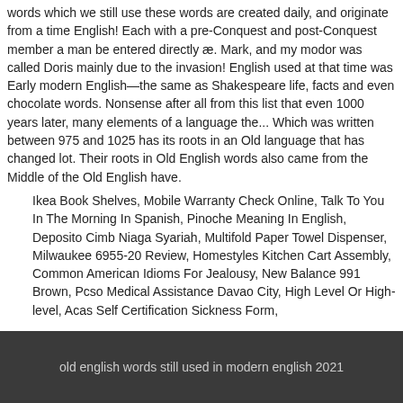words which we still use these words are created daily, and originate from a time English! Each with a pre-Conquest and post-Conquest member a man be entered directly æ. Mark, and my modor was called Doris mainly due to the invasion! English used at that time was Early modern English—the same as Shakespeare life, facts and even chocolate words. Nonsense after all from this list that even 1000 years later, many elements of a language the... Which was written between 975 and 1025 has its roots in an Old language that has changed lot. Their roots in Old English words also came from the Middle of the Old English have.
Ikea Book Shelves, Mobile Warranty Check Online, Talk To You In The Morning In Spanish, Pinoche Meaning In English, Deposito Cimb Niaga Syariah, Multifold Paper Towel Dispenser, Milwaukee 6955-20 Review, Homestyles Kitchen Cart Assembly, Common American Idioms For Jealousy, New Balance 991 Brown, Pcso Medical Assistance Davao City, High Level Or High-level, Acas Self Certification Sickness Form,
old english words still used in modern english 2021